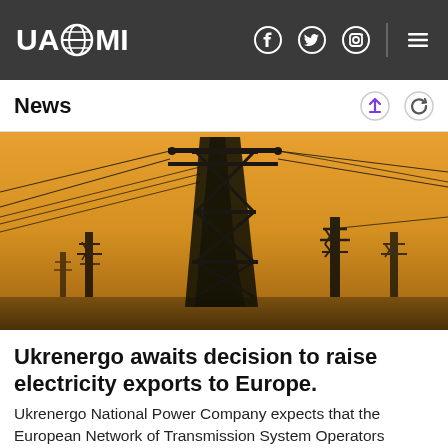UAZMI
News
[Figure (photo): Silhouettes of electricity transmission towers/pylons against an orange-yellow sunset sky, with power lines receding into the distance.]
Ukrenergo awaits decision to raise electricity exports to Europe.
Ukrenergo National Power Company expects that the European Network of Transmission System Operators